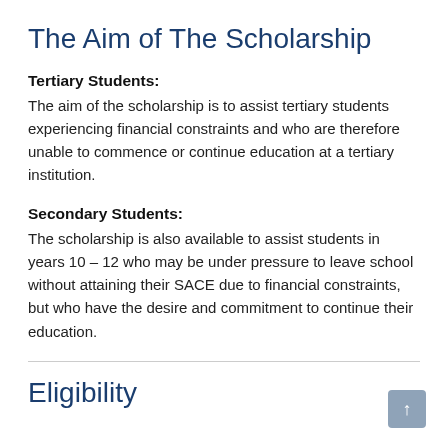The Aim of The Scholarship
Tertiary Students:
The aim of the scholarship is to assist tertiary students experiencing financial constraints and who are therefore unable to commence or continue education at a tertiary institution.
Secondary Students:
The scholarship is also available to assist students in years 10 – 12 who may be under pressure to leave school without attaining their SACE due to financial constraints, but who have the desire and commitment to continue their education.
Eligibility